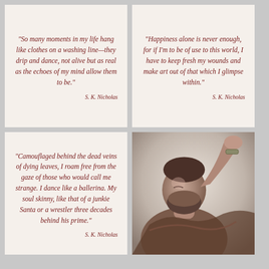“So many moments in my life hang like clothes on a washing line—they drip and dance, not alive but as real as the echoes of my mind allow them to be.”
S. K. Nicholas
“Happiness alone is never enough, for if I’m to be of use to this world, I have to keep fresh my wounds and make art out of that which I glimpse within.”
S. K. Nicholas
“Camouflaged behind the dead veins of dying leaves, I roam free from the gaze of those who would call me strange. I dance like a ballerina. My soul skinny, like that of a junkie Santa or a wrestler three decades behind his prime.”
S. K. Nicholas
[Figure (photo): Black and white / sepia toned photo of a bearded man with closed eyes, raising his arm above his head, wearing a bracelet, with dramatic lighting against a light background.]